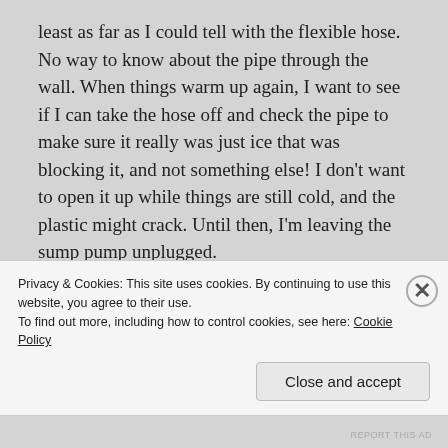least as far as I could tell with the flexible hose. No way to know about the pipe through the wall. When things warm up again, I want to see if I can take the hose off and check the pipe to make sure it really was just ice that was blocking it, and not something else! I don't want to open it up while things are still cold, and the plastic might crack. Until then, I'm leaving the sump pump unplugged.
What we still don't really know is, why this happened at all. While clearing the access pipe, which is cast iron, I felt what seemed to be a bottleneck of some sort. Or
Privacy & Cookies: This site uses cookies. By continuing to use this website, you agree to their use.
To find out more, including how to control cookies, see here: Cookie Policy